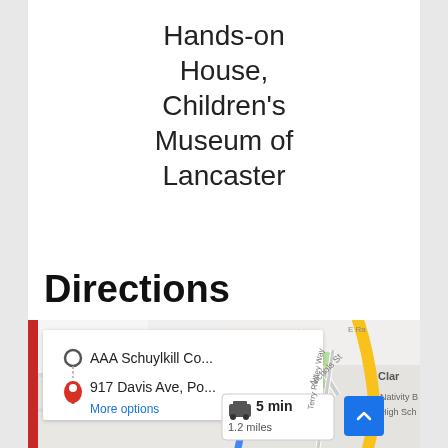Hands-on House, Children's Museum of Lancaster
Directions
[Figure (map): Google Maps screenshot showing directions from AAA Schuylkill Co... to 917 Davis Ave, Po..., with a route info popup showing 5 min and 1.2 miles by car, and partial street map with Nativity B High Sch, Nichols St, Terry Reilley Way, Clar label, and blue route line.]